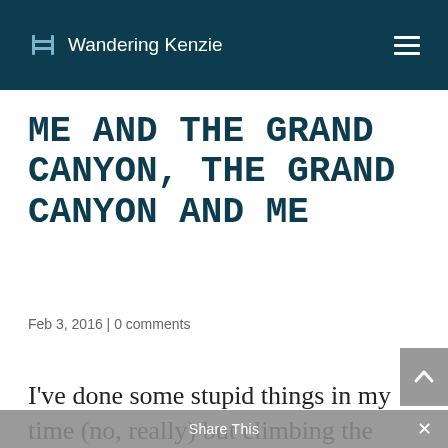Wandering Kenzie
ME AND THE GRAND CANYON, THE GRAND CANYON AND ME
Feb 3, 2016 | 0 comments
I've done some stupid things in my time (no, really) but climbing the Grand Canyon down and up